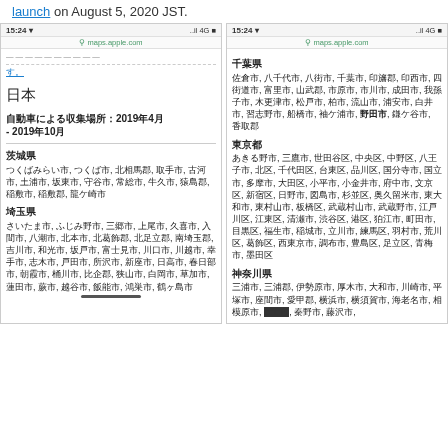launch on August 5, 2020 JST.
[Figure (screenshot): Left phone screenshot showing Apple Maps Japan data collection information page in Japanese, with heading 日本, subheading 自動車による収集場所：2019年4月 - 2019年10月, and lists of Japanese cities/prefectures including 茨城県 and 埼玉県]
[Figure (screenshot): Right phone screenshot showing continuation of Apple Maps Japan data collection information, listing cities in 千葉県, 東京都, and 神奈川県]